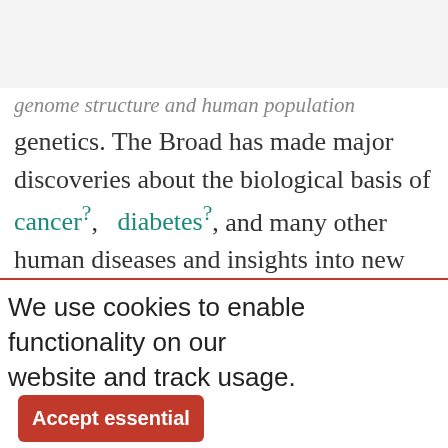yg TOPICS
genome structure and human population genetics. The Broad has made major discoveries about the biological basis of cancer?, diabetes?, and many other human diseases and insights into new treatment strategies.
Eric has won many honours and awards in the last few decades. He was elected a member of
We use cookies to enable functionality on our website and track usage. Accept essential Accept all Cookie settings